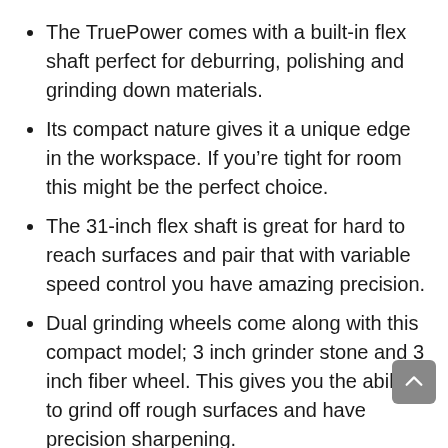The TruePower comes with a built-in flex shaft perfect for deburring, polishing and grinding down materials.
Its compact nature gives it a unique edge in the workspace. If you're tight for room this might be the perfect choice.
The 31-inch flex shaft is great for hard to reach surfaces and pair that with variable speed control you have amazing precision.
Dual grinding wheels come along with this compact model; 3 inch grinder stone and 3 inch fiber wheel. This gives you the ability to grind off rough surfaces and have precision sharpening.
The TruePower comes with surprising power